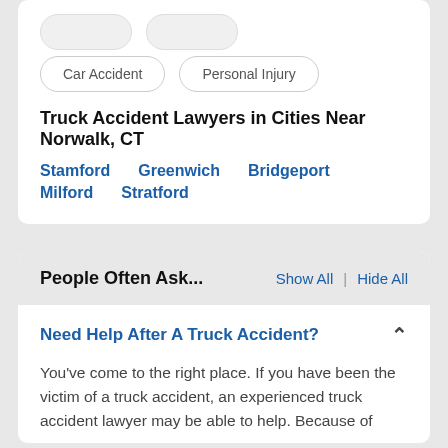Car Accident
Personal Injury
Truck Accident Lawyers in Cities Near Norwalk, CT
Stamford   Greenwich   Bridgeport   Milford   Stratford
People Often Ask...
Show All | Hide All
Need Help After A Truck Accident?
You've come to the right place. If you have been the victim of a truck accident, an experienced truck accident lawyer may be able to help. Because of